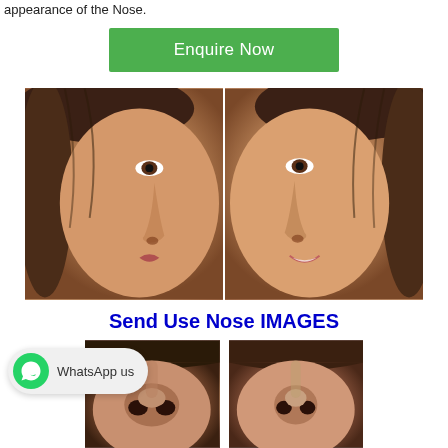appearance of the Nose.
[Figure (other): Green 'Enquire Now' button]
[Figure (photo): Before and after side-profile photos of a woman's nose, two faces facing each other showing rhinoplasty results]
Send Use Nose IMAGES
[Figure (photo): Two upward-angle before and after photos of a woman's nose showing rhinoplasty results from below]
[Figure (other): WhatsApp us widget with green WhatsApp icon]